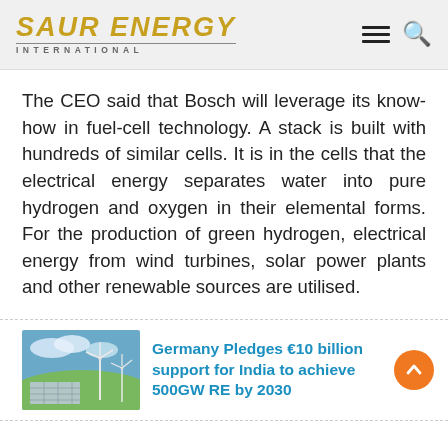SAUR ENERGY INTERNATIONAL
The CEO said that Bosch will leverage its know-how in fuel-cell technology. A stack is built with hundreds of similar cells. It is in the cells that the electrical energy separates water into pure hydrogen and oxygen in their elemental forms. For the production of green hydrogen, electrical energy from wind turbines, solar power plants and other renewable sources are utilised.
[Figure (photo): Solar panels and wind turbines in a green landscape with blue cloudy sky]
Germany Pledges €10 billion support for India to achieve 500GW RE by 2030